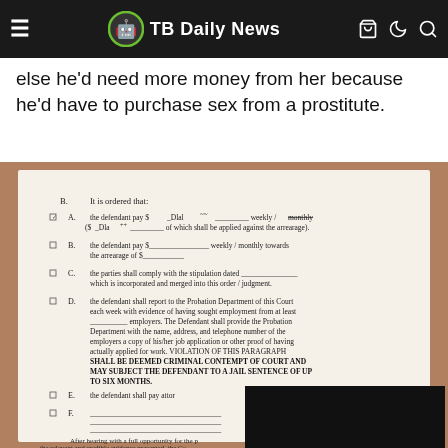TB Daily News
else he'd need more money from her because he'd have to purchase sex from a prostitute.
[Figure (photo): A photograph of a legal court order document showing items B through F including child support payment orders and probation department reporting requirements, with partial text visible including a section about VIOLATION OF THIS PARAGRAPH SHALL BE DEEMED CRIMINAL CONTEMPT OF COURT AND MAY SUBJECT THE DEFENDANT TO A JAIL SENTENCE OF UP TO SIX MONTHS. A black rectangle partially covers the lower right portion of the document. At the bottom text reads: After hearing with a full opportunity for the relevant and credible evidence presented, the Co and further Orders that:]